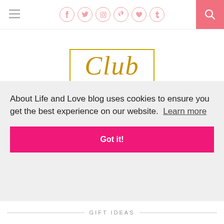Navigation bar with hamburger menu, social icons (Facebook, Twitter, Instagram, Pinterest, Heart, Tumblr), and search button
[Figure (logo): Club script logo in gold/italic font inside a gold bordered box]
HEY SINGLES!
[Figure (photo): Singles card with photo on left and pink panel on right]
About Life and Love blog uses cookies to ensure you get the best experience on our website.  Learn more
Got it!
GIFT IDEAS